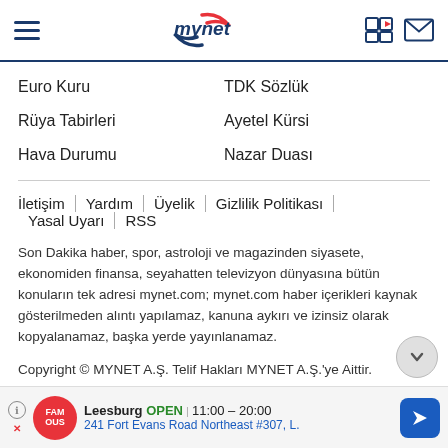mynet
Euro Kuru
TDK Sözlük
Rüya Tabirleri
Ayetel Kürsi
Hava Durumu
Nazar Duası
İletişim | Yardım | Üyelik | Gizlilik Politikası | Yasal Uyarı | RSS
Son Dakika haber, spor, astroloji ve magazinden siyasete, ekonomiden finansa, seyahatten televizyon dünyasına bütün konuların tek adresi mynet.com; mynet.com haber içerikleri kaynak gösterilmeden alıntı yapılamaz, kanuna aykırı ve izinsiz olarak kopyalanamaz, başka yerde yayınlanamaz.
Copyright © MYNET A.Ş. Telif Hakları MYNET A.Ş.'ye Aittir.
[Figure (screenshot): Advertisement banner: Famous Dave's Leesburg location, OPEN 11:00-20:00, 241 Fort Evans Road Northeast #307, L.]